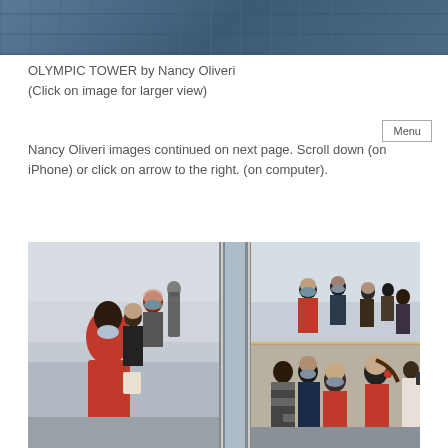[Figure (photo): Top portion of a building photograph showing architectural steel/glass structure]
OLYMPIC TOWER by Nancy Oliveri
(Click on image for larger view)
Nancy Oliveri images continued on next page. Scroll down (on iPhone) or click on arrow to the right. (on computer).
[Figure (photo): People wearing masks inside what appears to be an observation deck or glass-walled space, some in red clothing, photographed in a diptych style]